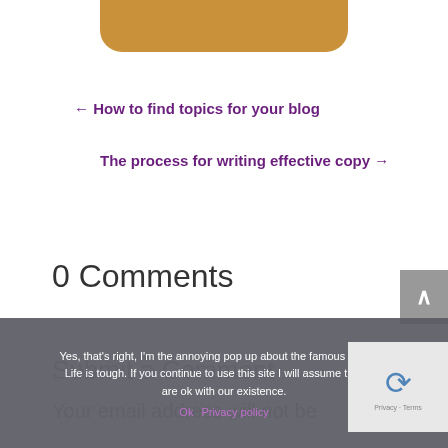[Figure (other): Golden/amber rounded rectangle bar at top of page, partial view]
← How to find topics for your blog
The process for writing effective copy →
0 Comments
Yes, that's right, I'm the annoying pop up about the famous cookies. Life is tough. If you continue to use this site I will assume that you are ok with our existence.
Ok   Privacy policy
Submit a Comment
Your email address will not be